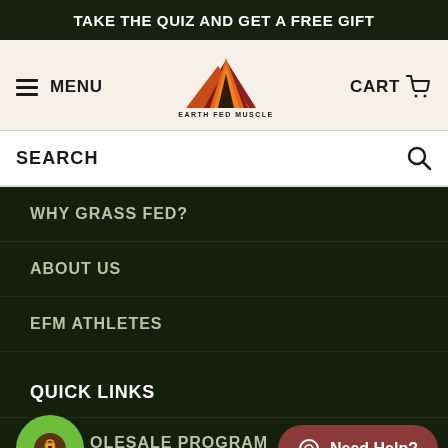TAKE THE QUIZ AND GET A FREE GIFT
[Figure (logo): Earth Fed Muscle mountain logo with layered orange, red, and dark mountain shapes above the text EARTH FED MUSCLE]
MENU
CART
SEARCH
WHY GRASS FED?
ABOUT US
EFM ATHLETES
QUICK LINKS
WHOLESALE PROGRAM
SUBSCRIPTION PROGRAM